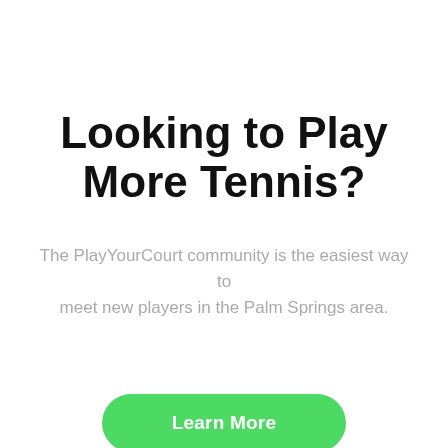Looking to Play More Tennis?
The PlayYourCourt community is the easiest way to meet new players in the Palm Springs area.
Learn More